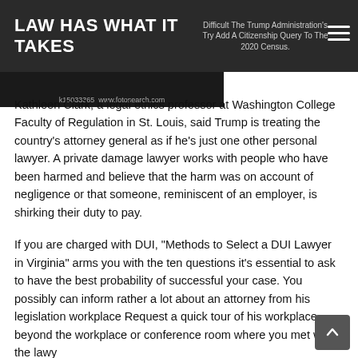LAW HAS WHAT IT TAKES
Difficult The Trump Administration's Try Add A Citizenship Query To The 2020 Census.
[Figure (photo): Decorative gavel image with watermark: k15033365 www.fotosearch.com]
Kathleen Clark, a legal ethics professor at Washington College Faculty of Regulation in St. Louis, said Trump is treating the country's attorney general as if he's just one other personal lawyer. A private damage lawyer works with people who have been harmed and believe that the harm was on account of negligence or that someone, reminiscent of an employer, is shirking their duty to pay.
If you are charged with DUI, “Methods to Select a DUI Lawyer in Virginia” arms you with the ten questions it’s essential to ask to have the best probability of successful your case. You possibly can inform rather a lot about an attorney from his legislation workplace Request a quick tour of his workplace, beyond the workplace or conference room where you met with the lawy...